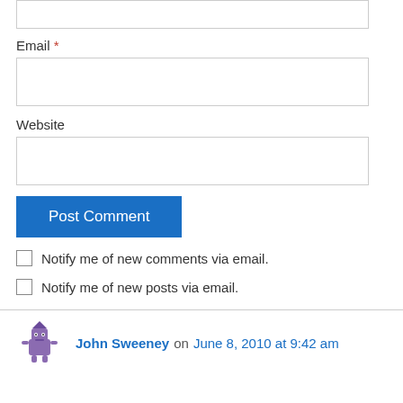Email *
Website
Post Comment
Notify me of new comments via email.
Notify me of new posts via email.
John Sweeney on June 8, 2010 at 9:42 am